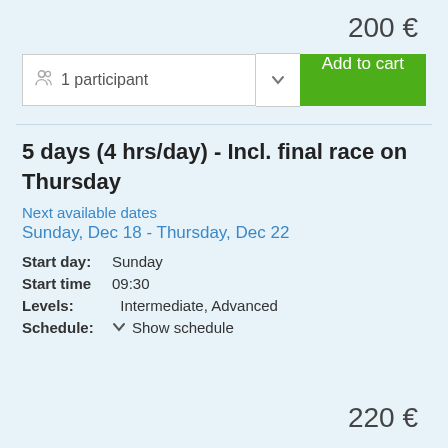200 €
1 participant  Add to cart
5 days (4 hrs/day) - Incl. final race on Thursday
Next available dates
Sunday, Dec 18 - Thursday, Dec 22
Start day:   Sunday
Start time   09:30
Levels:       Intermediate, Advanced
Schedule:  ∨  Show schedule
220 €